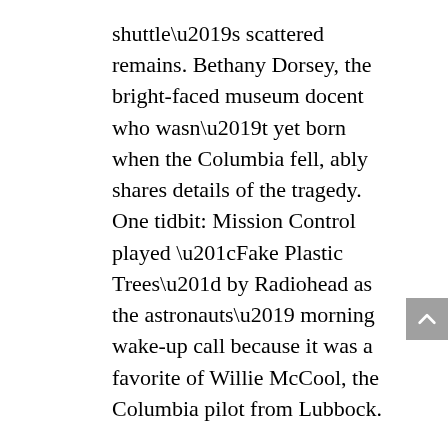shuttle’s scattered remains. Bethany Dorsey, the bright-faced museum docent who wasn’t yet born when the Columbia fell, ably shares details of the tragedy. One tidbit: Mission Control played “Fake Plastic Trees” by Radiohead as the astronauts’ morning wake-up call because it was a favorite of Willie McCool, the Columbia pilot from Lubbock.
Next, we are treated to some unexpected sorcery courtesy of Weldon, whose history center office is lined with tidy binders featuring titles such as “Sabine River Authority Photographs of Black African American Farms in the Robertson Bend, Book One.” A local cemetery expert, Weldon is dedicated to helping people find their ancestors, particularly those of African American